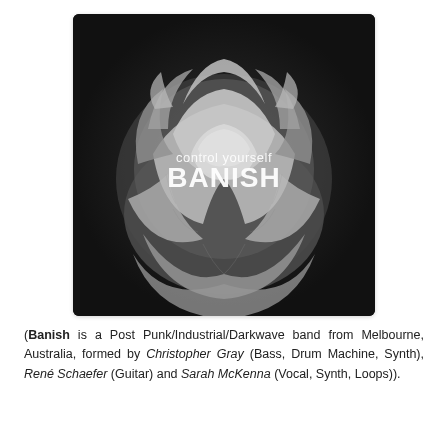[Figure (illustration): Black and white album cover for 'control yourself' by BANISH. Shows a large wilting/dried rose or peony flower in grayscale on a dark background. White text overlaid reads 'control yourself' in smaller text and 'BANISH' in large bold text below it.]
(Banish is a Post Punk/Industrial/Darkwave band from Melbourne, Australia, formed by Christopher Gray (Bass, Drum Machine, Synth), René Schaefer (Guitar) and Sarah McKenna (Vocal, Synth, Loops)).